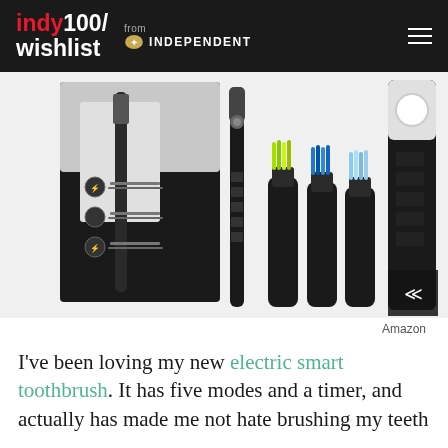indy100/ wishlist from INDEPENDENT
[Figure (photo): Electric smart toothbrush product photo showing black toothbrush with packaging box and three replacement brush heads with colorful bristles, plus the toothbrush handle with mode indicators on the right.]
Amazon
I've been loving my new electric smart toothbrush. It has five modes and a timer, and actually has made me not hate brushing my teeth